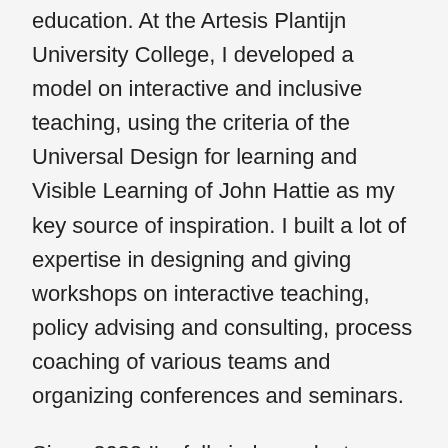education. At the Artesis Plantijn University College, I developed a model on interactive and inclusive teaching, using the criteria of the Universal Design for learning and Visible Learning of John Hattie as my key source of inspiration. I built a lot of expertise in designing and giving workshops on interactive teaching, policy advising and consulting, process coaching of various teams and organizing conferences and seminars.
Since 2022 I'm fully independent, focussing all my time on rebuilding communities. Globally as founder of All for Climate DAO (www.allforclimate.earth) and locally at our community building Citizen Corner